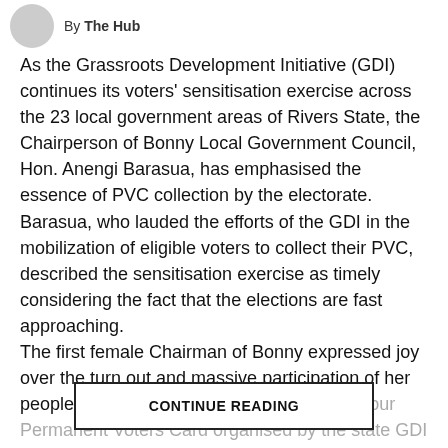By The Hub
As the Grassroots Development Initiative (GDI) continues its voters' sensitisation exercise across the 23 local government areas of Rivers State, the Chairperson of Bonny Local Government Council, Hon. Anengi Barasua, has emphasised the essence of PVC collection by the electorate. Barasua, who lauded the efforts of the GDI in the mobilization of eligible voters to collect their PVC, described the sensitisation exercise as timely considering the fact that the elections are fast approaching. The first female Chairman of Bonny expressed joy over the turn out and massive participation of her people She explained that operation show your Permanent Voters Card organised by the state GDI should be seen
CONTINUE READING